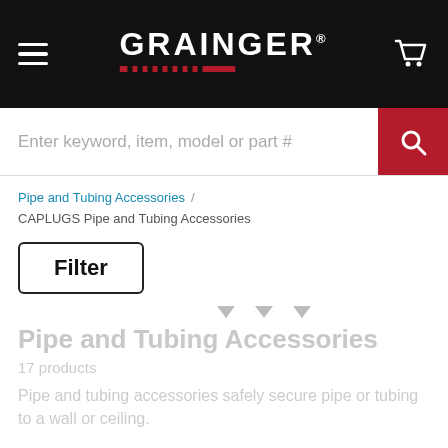GRAINGER
Enter keyword, item, model or part #
Pipe and Tubing Accessories / CAPLUGS Pipe and Tubing Accessories
Filter
Pipe and Tubing Accessories
17 products
Pipe and tubing accessories safely secure pipe or tubing to a wall or ceiling.
Clear All   Brand   CAPLUGS  X